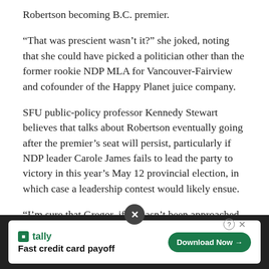Robertson becoming B.C. premier.
“That was prescient wasn’t it?” she joked, noting that she could have picked a politician other than the former rookie NDP MLA for Vancouver-Fairview and cofounder of the Happy Planet juice company.
SFU public-policy professor Kennedy Stewart believes that talks about Robertson eventually going after the premier’s seat will persist, particularly if NDP leader Carole James fails to lead the party to victory in this year’s May 12 provincial election, in which case a leadership contest would likely ensue.
“I’m sure that Gregor, if he hasn’t been approached already, will be approached, and it would be something he would seriously consider,” Stewart told the Straight.
[Figure (other): Advertisement banner: Tally app - Fast credit card payoff, with Download Now button]